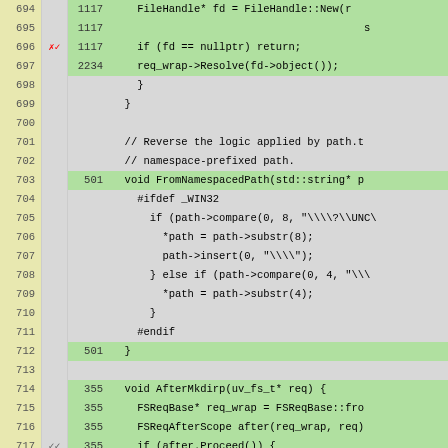[Figure (screenshot): Code coverage viewer showing C++ source lines 694-719 with line numbers, coverage markers, hit counts, and syntax-highlighted code. Green rows indicate covered lines, gray rows uncovered. Red and gray checkmarks in coverage column.]